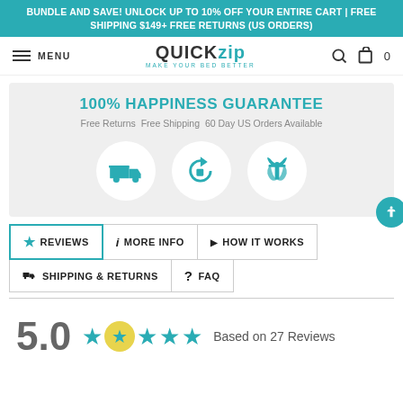BUNDLE AND SAVE! UNLOCK UP TO 10% OFF YOUR ENTIRE CART | FREE SHIPPING $149+ FREE RETURNS (US ORDERS)
[Figure (logo): QuickZip logo with tagline MAKE YOUR BED BETTER]
[Figure (infographic): 100% HAPPINESS GUARANTEE box with icons for Free Shipping, 60-Day Returns, Free Returns / Gift Available]
★ REVIEWS
ℹ MORE INFO
▶ HOW IT WORKS
🚚 SHIPPING & RETURNS
? FAQ
5.0  ★★★★★  Based on 27 Reviews